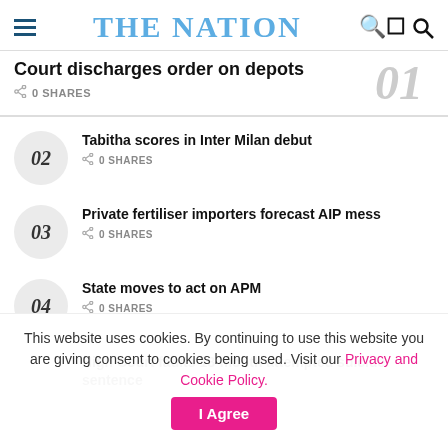THE NATION
Court discharges order on depots
0 SHARES
02 Tabitha scores in Inter Milan debut — 0 SHARES
03 Private fertiliser importers forecast AIP mess — 0 SHARES
04 State moves to act on APM — 0 SHARES
High Court faults 18-month attempted suicide sentence
This website uses cookies. By continuing to use this website you are giving consent to cookies being used. Visit our Privacy and Cookie Policy.